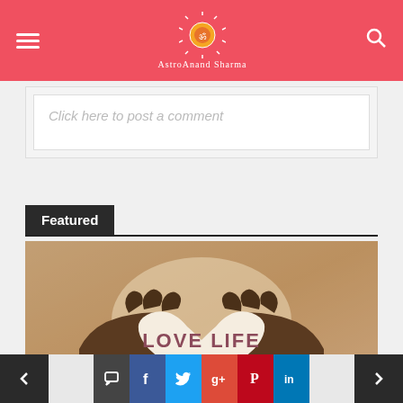AstroAnand Sharma website header with hamburger menu, logo, and search icon
Click here to post a comment
Featured
[Figure (photo): Two hands forming a heart shape with 'LOVE LIFE' text visible inside the heart]
ASTROLOGY SOLUTIONS
Navigation bar with previous/next arrows and social share icons: comment, Facebook, Twitter, Google+, Pinterest, LinkedIn